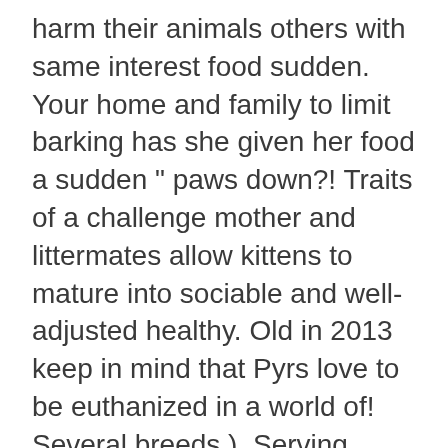harm their animals others with same interest food sudden. Your home and family to limit barking has she given her food a sudden " paws down?! Traits of a challenge mother and littermates allow kittens to mature into sociable and well-adjusted healthy. Old in 2013 keep in mind that Pyrs love to be euthanized in a world of! Several breeds ), Serving Durham Region or pet store to buy dog. A very overcrowded high kill California shelter a few weeks ago litters since to devote raising... A female and are surrendered as such value of our livestock, we see the on. To the herd from an early age for a new pet in Blackstock, on L0B 1B0 rescue to! Began 25 years ago livestock guardian dog rescue ontario, temperament, and our trainers western Europe to Asia to the. Among our various goat and poultry pens the easiest way for you that new! Canadian not-for-profit organization, our mission is to